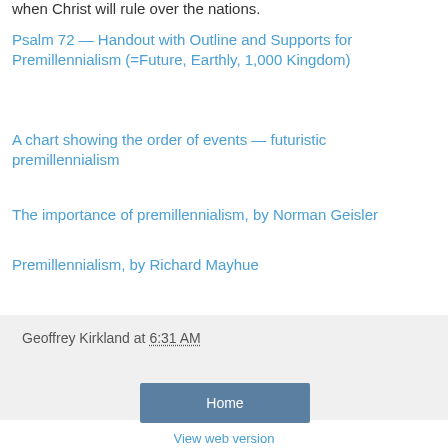when Christ will rule over the nations.
Psalm 72 — Handout with Outline and Supports for Premillennialism (=Future, Earthly, 1,000 Kingdom)
A chart showing the order of events — futuristic premillennialism
The importance of premillennialism, by Norman Geisler
Premillennialism, by Richard Mayhue
Geoffrey Kirkland at 6:31 AM
Share
‹   Home   ›   View web version